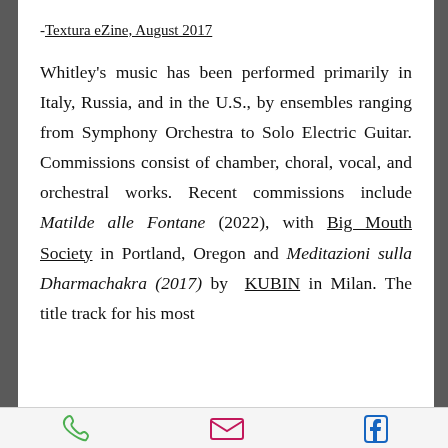-Textura eZine, August 2017
Whitley's music has been performed primarily in Italy, Russia, and in the U.S., by ensembles ranging from Symphony Orchestra to Solo Electric Guitar. Commissions consist of chamber, choral, vocal, and orchestral works. Recent commissions include Matilde alle Fontane (2022), with Big Mouth Society in Portland, Oregon and Meditazioni sulla Dharmachakra (2017) by KUBIN in Milan. The title track for his most
phone | email | facebook